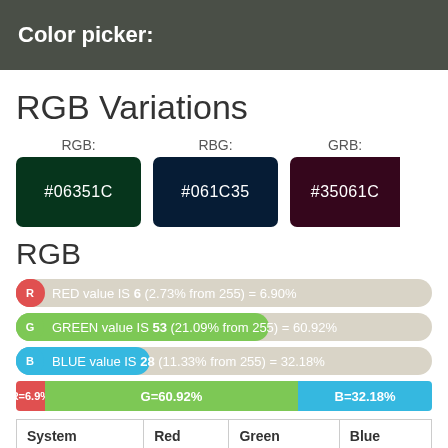Color picker:
RGB Variations
[Figure (infographic): Three color swatches showing RGB variations: RGB #06351C (dark green), RBG #061C35 (dark navy), GRB #35061C (dark maroon)]
RGB
RED value IS 6 (2.73% from 255) = 6.90%
GREEN value IS 53 (21.09% from 255) = 60.92%
BLUE value IS 28 (11.33% from 255) = 32.18%
[Figure (bar-chart): Combined horizontal bar showing R=6.9%, G=60.92%, B=32.18%]
| System | Red | Green | Blue |
| --- | --- | --- | --- |